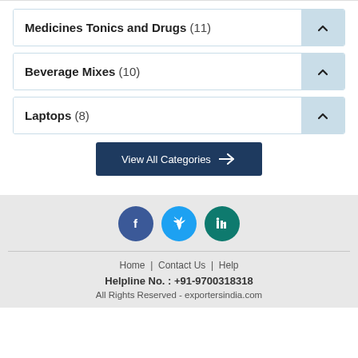Medicines Tonics and Drugs (11)
Beverage Mixes (10)
Laptops (8)
View All Categories →
[Figure (illustration): Social media icons: Facebook (dark blue circle), Twitter (cyan circle), LinkedIn (teal circle)]
Home | Contact Us | Help
Helpline No. : +91-9700318318
All Rights Reserved - exportersindia.com